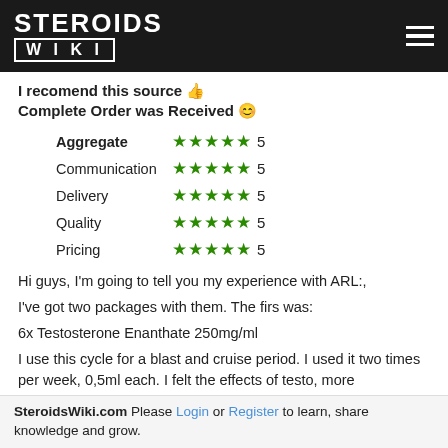STEROIDS WIKI
I recomend this source 👍
Complete Order was Received 😊
| Category | Stars | Score |
| --- | --- | --- |
| Aggregate | ★★★★★ | 5 |
| Communication | ★★★★★ | 5 |
| Delivery | ★★★★★ | 5 |
| Quality | ★★★★★ | 5 |
| Pricing | ★★★★★ | 5 |
Hi guys, I'm going to tell you my experience with ARL:,
I've got two packages with them. The firs was:
6x Testosterone Enanthate 250mg/ml
I use this cycle for a blast and cruise period. I used it two times per week, 0,5ml each. I felt the effects of testo, more
SteroidsWiki.com Please Login or Register to learn, share knowledge and grow.